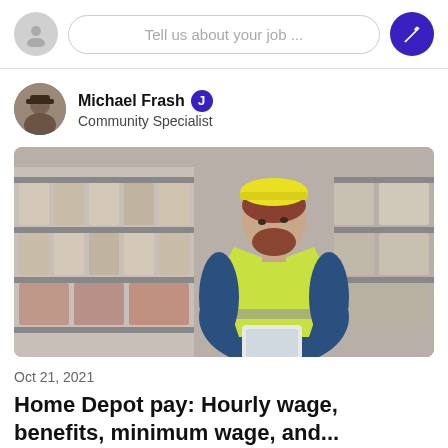[Figure (screenshot): Top navigation bar with a circular avatar placeholder, a rounded search input field reading 'Tell us about your job ...', and a dark blue circular edit button with pencil icon]
Michael Frash
Community Specialist
[Figure (photo): A man wearing a yellow safety vest and blue jacket looks down at a tablet in a warehouse with shelving units stocked with materials in the background]
Oct 21, 2021
Home Depot pay: Hourly wage, benefits, minimum wage, and...